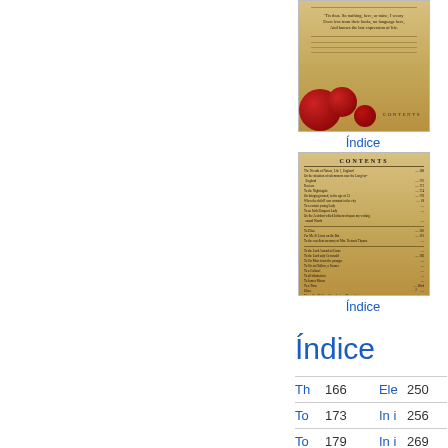[Figure (photo): Partial view of an old book page with contents text and decorative red spheres at the bottom]
Índice
[Figure (photo): Old book contents page showing CONTENTS heading with list of entries and page numbers]
Índice
Índice
|  |  |  |  |
| --- | --- | --- | --- |
| Th | 166 | Ele | 250 |
| To | 173 | In i | 256 |
| To | 179 | In i | 269 |
| Ple | 185 | Ad | 275 |